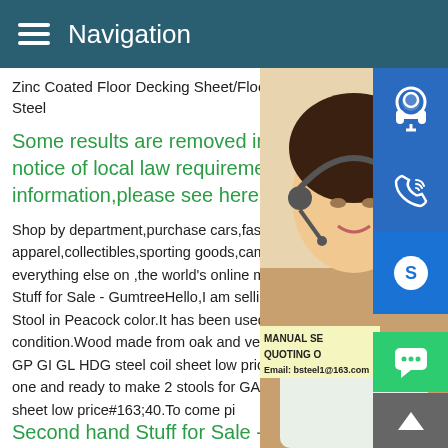Navigation
Zinc Coated Floor Decking Sheet/Floor St Steel
Some results are removed in notice of local law requirements information,please see here.S
Shop by department,purchase cars,fashion apparel,collectibles,sporting goods,cameras, everything else on ,the world's online market Stuff for Sale - GumtreeHello,I am selling Stool in Peacock color.It has been used but still in very good condition.Wood made from oak and very resistant.Unit price = GA GP GI GL HDG steel coil sheet low price#163;25 I have another one and ready to make 2 stools for GA GP GI GL HDG steel coil sheet low price#163;40.To come pi
[Figure (photo): Woman with headset customer service photo with blue icon overlays for support, phone, and Skype. Info panel shows MANUAL SERVICE, QUOTING ON, Email: bsteel1@163.com]
Second hand Stuff for Sale - Gumtree